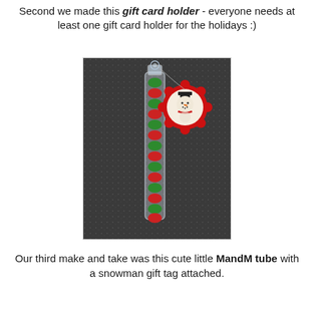Second we made this gift card holder - everyone needs at least one gift card holder for the holidays :)
[Figure (photo): A clear plastic tube filled with alternating red and green M&M candies, sealed at the top with a snowman gift tag on a red scalloped circle, set against a dark speckled background.]
Our third make and take was this cute little MandM tube with a snowman gift tag attached.